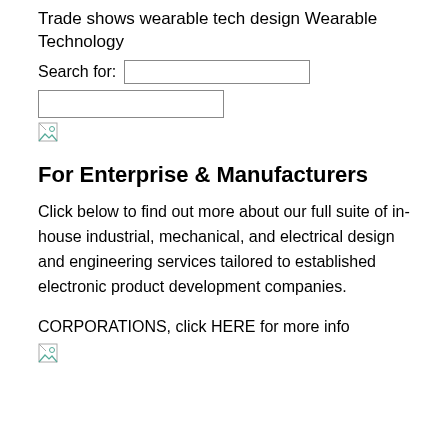Trade shows wearable tech design Wearable Technology
Search for:
[Figure (other): Broken image placeholder icon]
For Enterprise & Manufacturers
Click below to find out more about our full suite of in-house industrial, mechanical, and electrical design and engineering services tailored to established electronic product development companies.
CORPORATIONS, click HERE for more info
[Figure (other): Broken image placeholder icon]